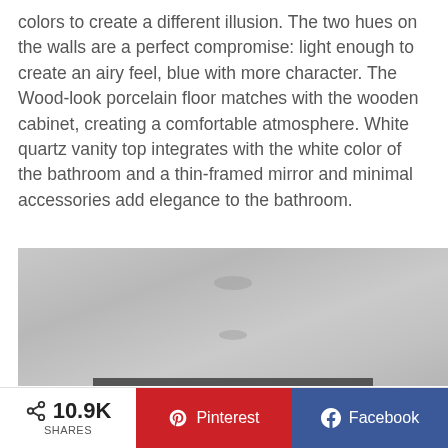colors to create a different illusion. The two hues on the walls are a perfect compromise: light enough to create an airy feel, blue with more character. The Wood-look porcelain floor matches with the wooden cabinet, creating a comfortable atmosphere. White quartz vanity top integrates with the white color of the bathroom and a thin-framed mirror and minimal accessories add elegance to the bathroom.
[Figure (photo): Photo of a bathroom bathtub, close-up, light gray/white tones showing the tub surface with a faucet area at the bottom edge]
10.9K SHARES  Pinterest  Facebook